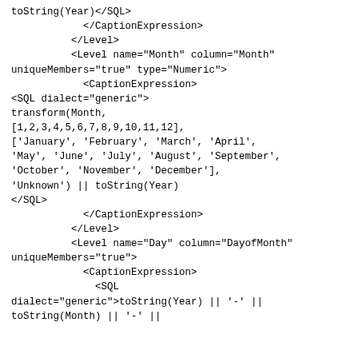toString(Year)</SQL>
            </CaptionExpression>
          </Level>
          <Level name="Month" column="Month" uniqueMembers="true" type="Numeric">
            <CaptionExpression>
<SQL dialect="generic">
transform(Month,
[1,2,3,4,5,6,7,8,9,10,11,12],
['January', 'February', 'March', 'April',
'May', 'June', 'July', 'August', 'September',
'October', 'November', 'December'],
'Unknown') || toString(Year)
</SQL>
            </CaptionExpression>
          </Level>
          <Level name="Day" column="DayofMonth" uniqueMembers="true">
            <CaptionExpression>
              <SQL
dialect="generic">toString(Year) || '-' ||
toString(Month) || '-' ||